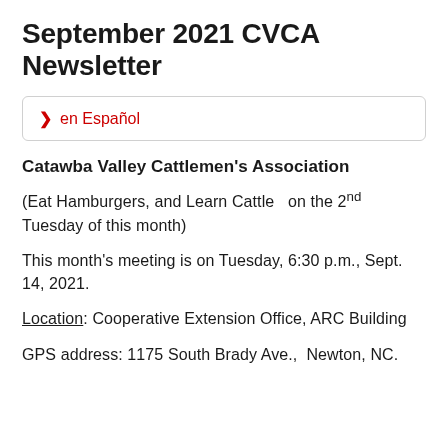September 2021 CVCA Newsletter
en Español
Catawba Valley Cattlemen's Association
(Eat Hamburgers, and Learn Cattle  on the 2nd Tuesday of this month)
This month's meeting is on Tuesday, 6:30 p.m., Sept. 14, 2021.
Location: Cooperative Extension Office, ARC Building
GPS address: 1175 South Brady Ave.,  Newton, NC.